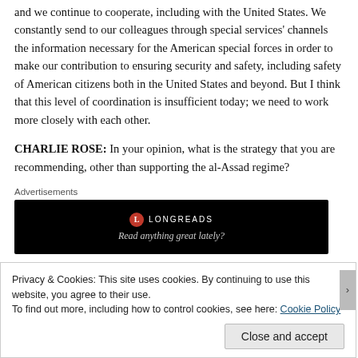and we continue to cooperate, including with the United States. We constantly send to our colleagues through special services' channels the information necessary for the American special forces in order to make our contribution to ensuring security and safety, including safety of American citizens both in the United States and beyond. But I think that this level of coordination is insufficient today; we need to work more closely with each other.
CHARLIE ROSE: In your opinion, what is the strategy that you are recommending, other than supporting the al-Assad regime?
Advertisements
[Figure (other): Longreads advertisement banner with black background, red circle logo with L, brand name LONGREADS, and tagline 'Read anything great lately?']
Privacy & Cookies: This site uses cookies. By continuing to use this website, you agree to their use. To find out more, including how to control cookies, see here: Cookie Policy